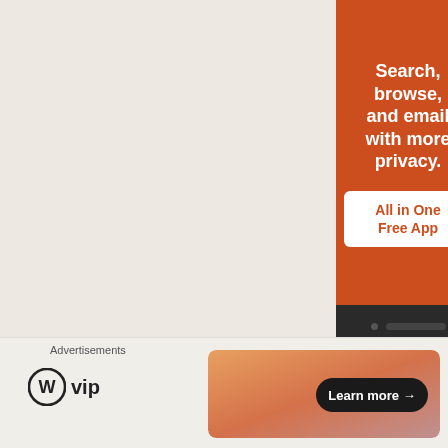[Figure (illustration): Orange/red vertical banner advertisement showing text 'Search, browse, and email with more privacy.' with a white button labeled 'All in One Free App', over a dark phone bottom section with an orange circle button]
[Figure (illustration): Chevron up arrow icon in teal/blue color]
[Figure (illustration): Circle X close button icon]
Advertisements
[Figure (logo): WordPress W circle logo followed by 'vip' text]
[Figure (illustration): Orange-pink gradient banner with 'Learn more →' button in black pill shape]